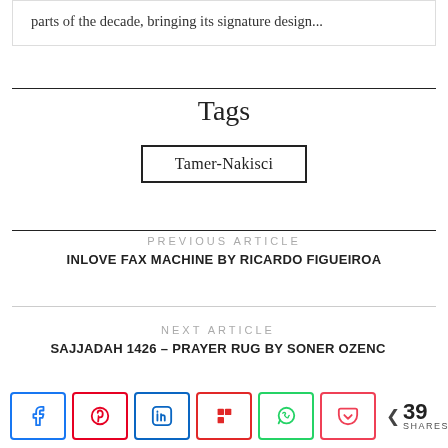parts of the decade, bringing its signature design...
Tags
Tamer-Nakisci
PREVIOUS ARTICLE
INLOVE FAX MACHINE BY RICARDO FIGUEIROA
NEXT ARTICLE
SAJJADAH 1426 – PRAYER RUG BY SONER OZENC
39 SHARES